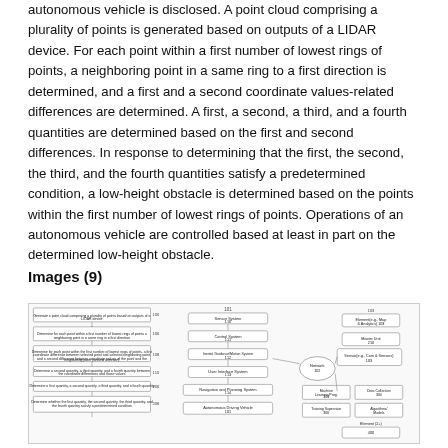autonomous vehicle is disclosed. A point cloud comprising a plurality of points is generated based on outputs of a LIDAR device. For each point within a first number of lowest rings of points, a neighboring point in a same ring to a first direction is determined, and a first and a second coordinate values-related differences are determined. A first, a second, a third, and a fourth quantities are determined based on the first and second differences. In response to determining that the first, the second, the third, and the fourth quantities satisfy a predetermined condition, a low-height obstacle is determined based on the points within the first number of lowest rings of points. Operations of an autonomous vehicle are controlled based at least in part on the determined low-height obstacle.
Images (9)
[Figure (flowchart): Three-column flowchart diagram showing system architecture with boxes and arrows. Left column shows sequential process steps, middle column shows system components (Sensor System, Control System, Inertial Guidance/Motion System, User Interface System, Navigation and Planning System, Autonomous Driving Vehicle), center shows a Network node with connections, and right column shows components including Compute, Machine Learning Program, Data Collection, Training Supervisor, Algorithms/Models, and Element (e.g., Map & Analytics).]